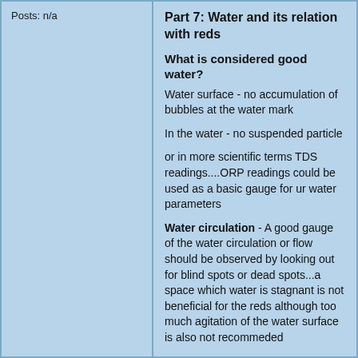Posts: n/a
Part 7: Water and its relation with reds
What is considered good water?
Water surface - no accumulation of bubbles at the water mark
In the water - no suspended particle
or in more scientific terms TDS readings....ORP readings could be used as a basic gauge for ur water parameters
Water circulation - A good gauge of the water circulation or flow should be observed by looking out for blind spots or dead spots...a space which water is stagnant is not beneficial for the reds although too much agitation of the water surface is also not recommeded
Filtration basis - Biological should be the primary concerns for reds as it is curcial for the